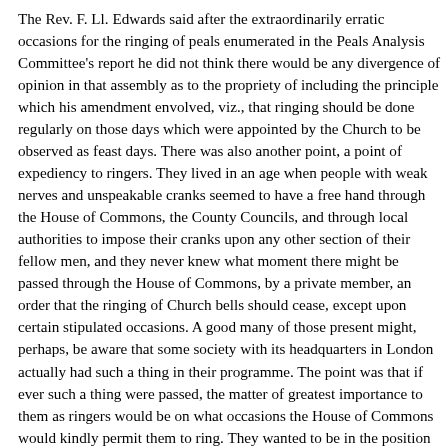The Rev. F. Ll. Edwards said after the extraordinarily erratic occasions for the ringing of peals enumerated in the Peals Analysis Committee's report he did not think there would be any divergence of opinion in that assembly as to the propriety of including the principle which his amendment envolved, viz., that ringing should be done regularly on those days which were appointed by the Church to be observed as feast days. There was also another point, a point of expediency to ringers. They lived in an age when people with weak nerves and unspeakable cranks seemed to have a free hand through the House of Commons, the County Councils, and through local authorities to impose their cranks upon any other section of their fellow men, and they never knew what moment there might be passed through the House of Commons, by a private member, an order that the ringing of Church bells should cease, except upon certain stipulated occasions. A good many of those present might, perhaps, be aware that some society with its headquarters in London actually had such a thing in their programme. The point was that if ever such a thing were passed, the matter of greatest importance to them as ringers would be on what occasions the House of Commons would kindly permit them to ring. They wanted to be in the position to say as the Frenchman said, “Ici je suis, ici je reste” - “here I am, here I stay.” If they allowed their ringing to be confined, apart from practices, to Sundays, they might at any moment get a Bill passed confining